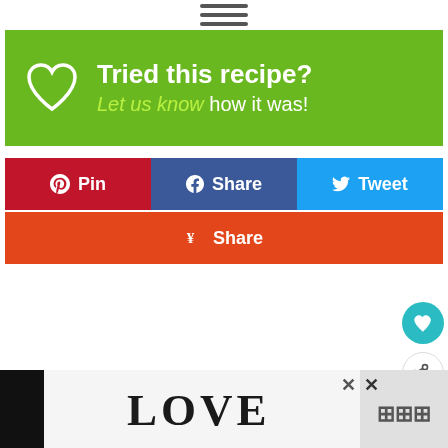[Figure (other): Hamburger menu icon (three horizontal lines)]
[Figure (other): Green banner with white heart outline icon and text: 'Tried this recipe? Let us know how it was!']
[Figure (other): Social share buttons row: red Pinterest Pin button, blue Facebook Share button, light blue Twitter Tweet button]
[Figure (other): Orange Yummly Share button]
[Figure (other): Floating teal heart button and white share button on right side]
[Figure (other): Advertisement banner at bottom with LOVE text art illustration and close buttons]